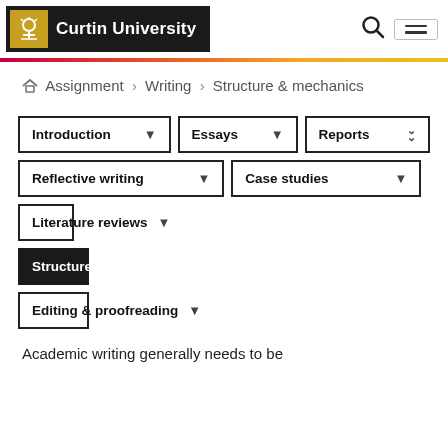Curtin University
Assignment > Writing > Structure & mechanics
Introduction
Essays
Reports
Reflective writing
Case studies
Literature reviews
Structure & mechanics
Editing & proofreading
Academic writing generally needs to be